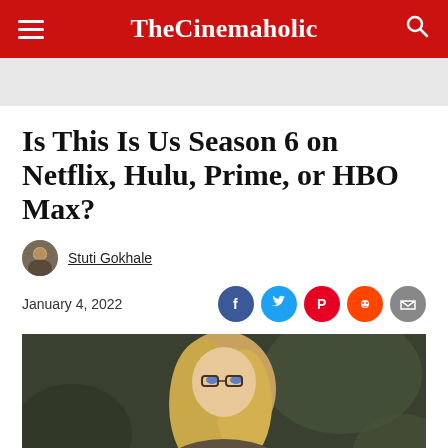TheCinemaholic
Is This Is Us Season 6 on Netflix, Hulu, Prime, or HBO Max?
Stuti Gokhale
January 4, 2022
[Figure (photo): Portrait photo of a woman with long blonde hair and glasses, outdoors with blurred green background]